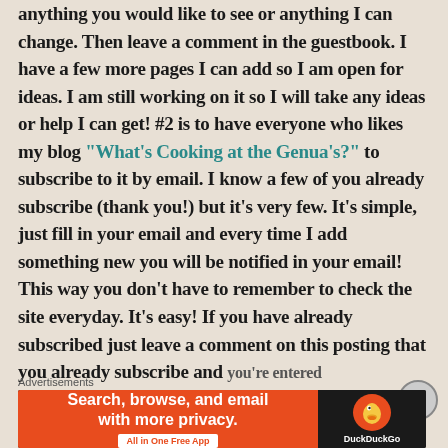anything you would like to see or anything I can change. Then leave a comment in the guestbook. I have a few more pages I can add so I am open for ideas. I am still working on it so I will take any ideas or help I can get! #2 is to have everyone who likes my blog "What's Cooking at the Genua's?" to subscribe to it by email. I know a few of you already subscribe (thank you!) but it's very few. It's simple, just fill in your email and every time I add something new you will be notified in your email! This way you don't have to remember to check the site everyday. It's easy! If you have already subscribed just leave a comment on this posting that you already subscribe and you're entered
Advertisements
[Figure (other): DuckDuckGo advertisement banner: orange left panel reading 'Search, browse, and email with more privacy. All in One Free App' and dark right panel with DuckDuckGo duck logo and brand name.]